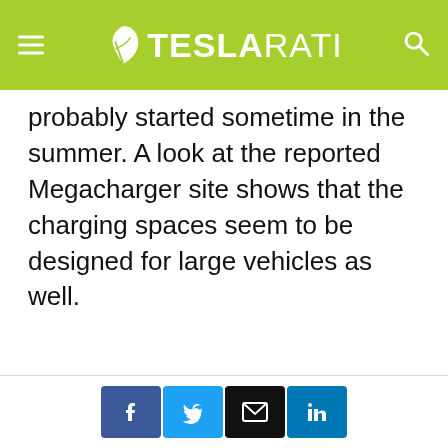TESLARATI
probably started sometime in the summer. A look at the reported Megacharger site shows that the charging spaces seem to be designed for large vehicles as well.
Share buttons: Facebook, Twitter, Email, LinkedIn